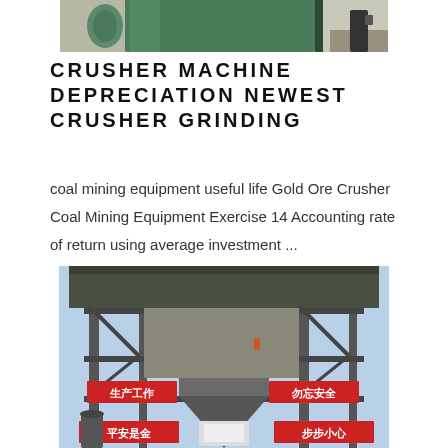[Figure (photo): Top portion of a large green industrial tank or vessel at a mining/crushing facility, partially visible at the top of the page]
CRUSHER MACHINE DEPRECIATION NEWEST CRUSHER GRINDING
coal mining equipment useful life Gold Ore Crusher Coal Mining Equipment Exercise 14 Accounting rate of return using average investment ...
[Figure (photo): Large industrial coal crushing/grinding machine structure with Chinese safety signage banners reading 生产工作, 勿忘安全, 步步小心, 平安是金, steel frame scaffolding structure against a blue sky]